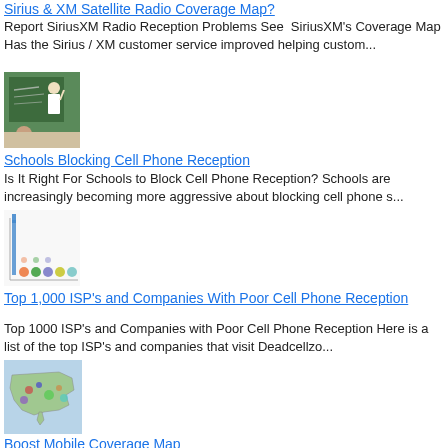Sirius & XM Satellite Radio Coverage Map?
Report SiriusXM Radio Reception Problems See  SiriusXM's Coverage Map Has the Sirius / XM customer service improved helping custom...
[Figure (photo): Classroom scene with teacher writing on chalkboard and student in foreground]
Schools Blocking Cell Phone Reception
Is It Right For Schools to Block Cell Phone Reception? Schools are increasingly becoming more aggressive about blocking cell phone s...
[Figure (infographic): Colorful chart or infographic with vertical bars and dots representing ISP data]
Top 1,000 ISP's and Companies With Poor Cell Phone Reception
Top 1000 ISP's and Companies with Poor Cell Phone Reception Here is a list of the top ISP's and companies that visit Deadcellzo...
[Figure (map): Boost Mobile Coverage Map showing United States with colored coverage areas]
Boost Mobile Coverage Map
Boost Mobile Coverage Map Updated Boost Mobile Coverage Maps